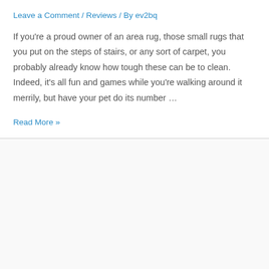Leave a Comment / Reviews / By ev2bq
If you're a proud owner of an area rug, those small rugs that you put on the steps of stairs, or any sort of carpet, you probably already know how tough these can be to clean. Indeed, it's all fun and games while you're walking around it merrily, but have your pet do its number …
Read More »